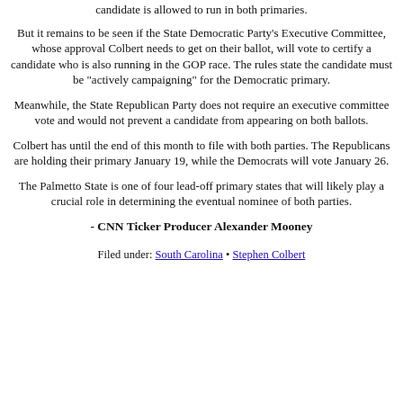candidate is allowed to run in both primaries.
But it remains to be seen if the State Democratic Party's Executive Committee, whose approval Colbert needs to get on their ballot, will vote to certify a candidate who is also running in the GOP race. The rules state the candidate must be "actively campaigning" for the Democratic primary.
Meanwhile, the State Republican Party does not require an executive committee vote and would not prevent a candidate from appearing on both ballots.
Colbert has until the end of this month to file with both parties. The Republicans are holding their primary January 19, while the Democrats will vote January 26.
The Palmetto State is one of four lead-off primary states that will likely play a crucial role in determining the eventual nominee of both parties.
- CNN Ticker Producer Alexander Mooney
Filed under: South Carolina • Stephen Colbert